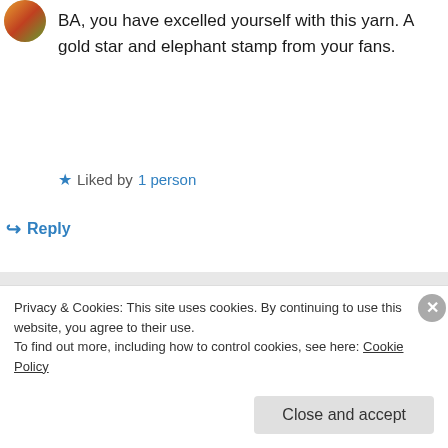[Figure (photo): Small circular avatar image of a person, top left]
BA, you have excelled yourself with this yarn. A gold star and elephant stamp from your fans.
★ Liked by 1 person
↪ Reply
Bruce Goodman on April 21, 2021 at 10:50 am
Thank you, Yvonne. With the gold star and elephant stamp on my hands I shall not
Privacy & Cookies: This site uses cookies. By continuing to use this website, you agree to their use.
To find out more, including how to control cookies, see here: Cookie Policy
Close and accept